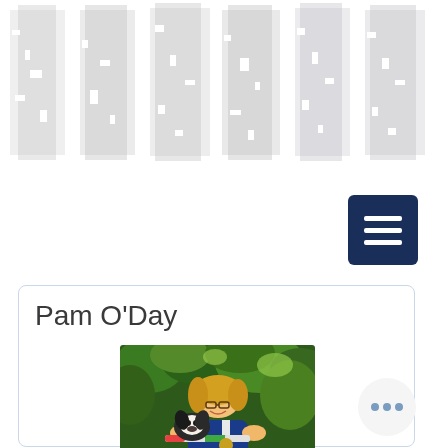[Figure (screenshot): Website header banner with large distressed/watermark-style text in light gray]
[Figure (screenshot): Dark navy blue hamburger menu button (three horizontal white lines) in upper right area]
Pam O'Day
[Figure (photo): Woman with blonde hair wearing a blue shirt, smiling and holding a baton, with a border collie dog, seated outdoors in front of green foliage]